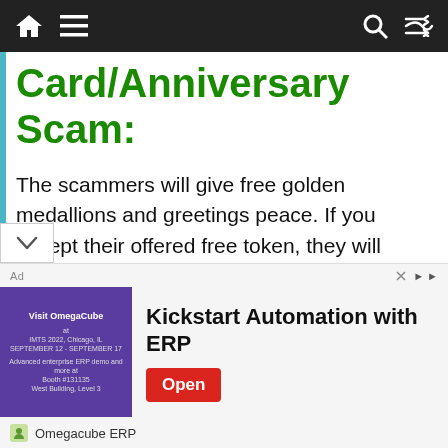Navigation bar with home icon, menu icon, search icon, and shuffle icon
Card/Anniversary Scam:
The scammers will give free golden medallions and greetings peace. If you accept their offered free token, they will demand a donation for it. It’s important for you to know that there are absolutely no “truly free” gift cards and it’s really ok to say no, if you get such offers say no and walk away. Con artist also forwards anniversary link to users that they are celebrating anniversary
[Figure (screenshot): Advertisement banner: 'Kickstart Automation with ERP' by Omegacube ERP with Open button]